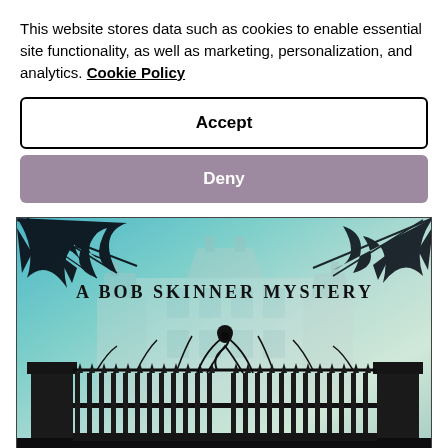This website stores data such as cookies to enable essential site functionality, as well as marketing, personalization, and analytics. Cookie Policy
Accept
Deny
[Figure (illustration): Book cover image for a Bob Skinner Mystery showing ornate iron gates in silhouette against a teal/blue-green background with a large manor house faintly visible behind the gates. Dark tree branches visible at top. Text reads 'A BOB SKINNER MYSTERY' in bold serif letters.]